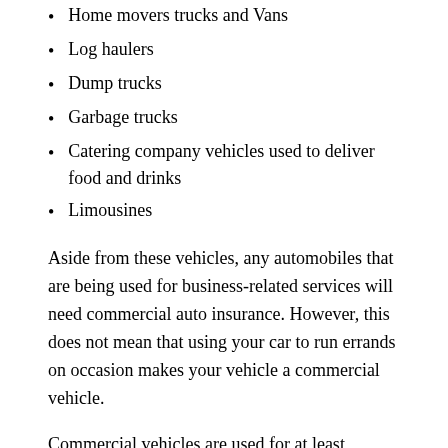Home movers trucks and Vans
Log haulers
Dump trucks
Garbage trucks
Catering company vehicles used to deliver food and drinks
Limousines
Aside from these vehicles, any automobiles that are being used for business-related services will need commercial auto insurance. However, this does not mean that using your car to run errands on occasion makes your vehicle a commercial vehicle.
Commercial vehicles are used for at least